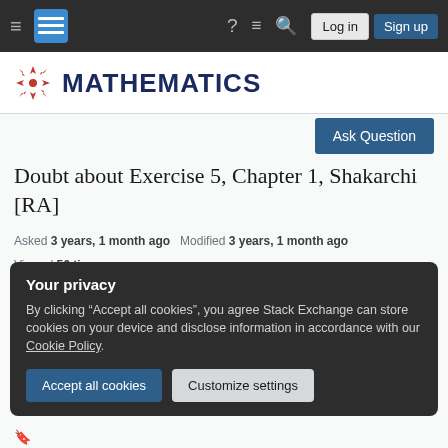Mathematics Stack Exchange navigation bar with hamburger menu, logo, help, chat, search icons, Log in and Sign up buttons
[Figure (logo): Mathematics Stack Exchange logo: red geometric flower/snowflake icon next to bold dark blue MATHEMATICS text]
[Figure (other): Ask Question button (dark blue)]
Doubt about Exercise 5, Chapter 1, Shakarchi [RA]
Asked 3 years, 1 month ago   Modified 3 years, 1 month ago   Viewed 56 times
Your privacy
By clicking "Accept all cookies", you agree Stack Exchange can store cookies on your device and disclose information in accordance with our Cookie Policy.
Accept all cookies   Customize settings